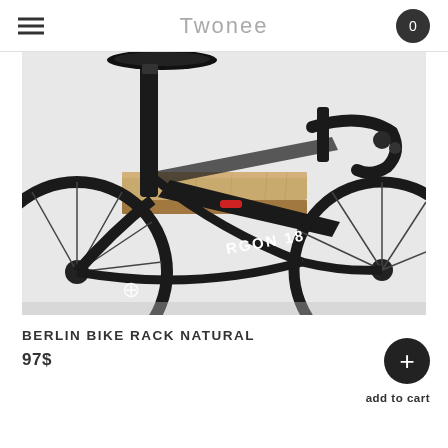twonee
[Figure (photo): A black road bike (Argon 18) mounted on a wooden wall-mounted bike rack shelf attached to a white wall. The natural wood shelf cradles the bike frame.]
BERLIN BIKE RACK NATURAL
97$
add to cart